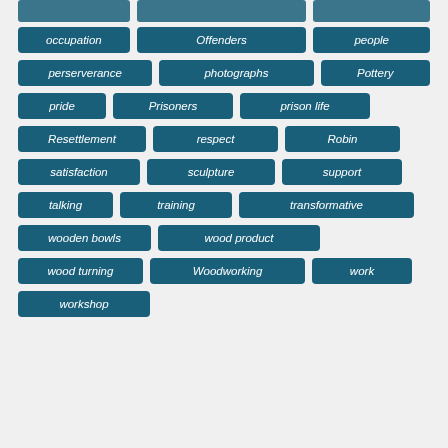occupation
Offenders
people
perserverance
photographs
Pottery
pride
Prisoners
prison life
Resettlement
respect
Robin
satisfaction
sculpture
support
talking
training
transformative
wooden bowls
wood product
wood turning
Woodworking
work
workshop